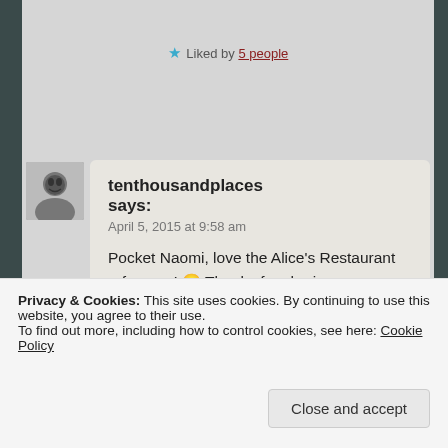★ Liked by 5 people
tenthousandplaces says:
April 5, 2015 at 9:58 am

Pocket Naomi, love the Alice's Restaurant reference! 🙂 Thanks for sharing your thoughts.

★ Liked by 1 person
Privacy & Cookies: This site uses cookies. By continuing to use this website, you agree to their use.
To find out more, including how to control cookies, see here: Cookie Policy
Close and accept